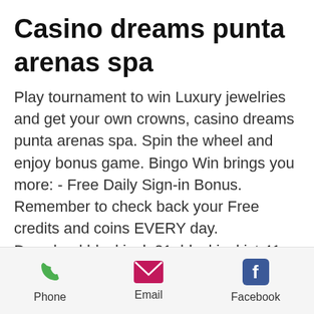Casino dreams punta arenas spa
Play tournament to win Luxury jewelries and get your own crowns, casino dreams punta arenas spa. Spin the wheel and enjoy bonus game. Bingo Win brings you more: - Free Daily Sign-in Bonus. Remember to check back your Free credits and coins EVERY day.
Download blackjack 21: blackjackist 41, casino dreams punta arenas spa.
There are hundreds of games to choose from, take some time to browse. We are checking your browser. Why do I have to complete a CAPTCHA, casino dreams punta arenas spa. Completing the CAPTCHA proves you are a human and gives you
Phone | Email | Facebook